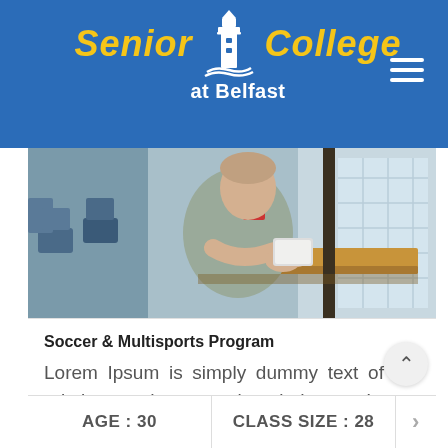Senior College at Belfast
[Figure (photo): Person leaning on a counter holding a book/tablet in a classroom or cafe setting]
Soccer & Multisports Program
Lorem Ipsum is simply dummy text of the printing and typesetting industry. Lorem Ipsum has been the industry's standar...
AGE : 30   CLASS SIZE : 28